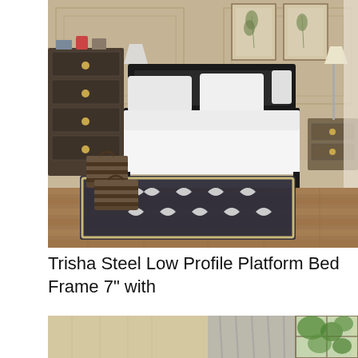[Figure (photo): A stylish bedroom scene featuring a low-profile black steel platform bed with white bedding, two wicker storage baskets on a dark patterned area rug, wood-paneled walls with botanical artwork, flanking nightstands, and hardwood flooring.]
Trisha Steel Low Profile Platform Bed Frame 7″ with
[Figure (photo): Partial view of a room with light wood-toned wall panels, a grey curtain, and a window with green foliage visible outside.]